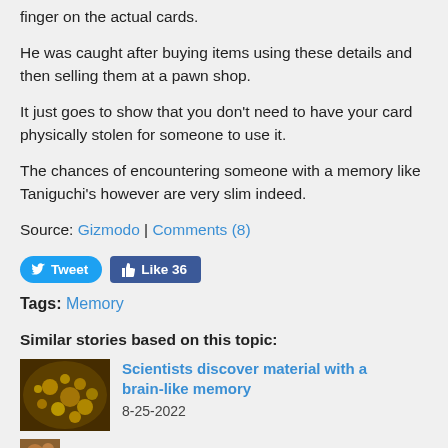finger on the actual cards.
He was caught after buying items using these details and then selling them at a pawn shop.
It just goes to show that you don't need to have your card physically stolen for someone to use it.
The chances of encountering someone with a memory like Taniguchi's however are very slim indeed.
Source: Gizmodo | Comments (8)
[Figure (other): Social media buttons: Tweet button (Twitter blue) and Like 36 button (Facebook blue)]
Tags: Memory
Similar stories based on this topic:
[Figure (photo): Thumbnail image of glittery golden material]
Scientists discover material with a brain-like memory
8-25-2022
[Figure (photo): Partial thumbnail of another story image at bottom]